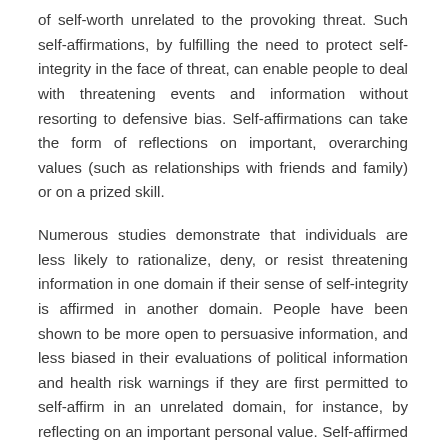of self-worth unrelated to the provoking threat. Such self-affirmations, by fulfilling the need to protect self-integrity in the face of threat, can enable people to deal with threatening events and information without resorting to defensive bias. Self-affirmations can take the form of reflections on important, overarching values (such as relationships with friends and family) or on a prized skill.
Numerous studies demonstrate that individuals are less likely to rationalize, deny, or resist threatening information in one domain if their sense of self-integrity is affirmed in another domain. People have been shown to be more open to persuasive information, and less biased in their evaluations of political information and health risk warnings if they are first permitted to self-affirm in an unrelated domain, for instance, by reflecting on an important personal value. Self-affirmed individuals are also more likely to acknowledge that...